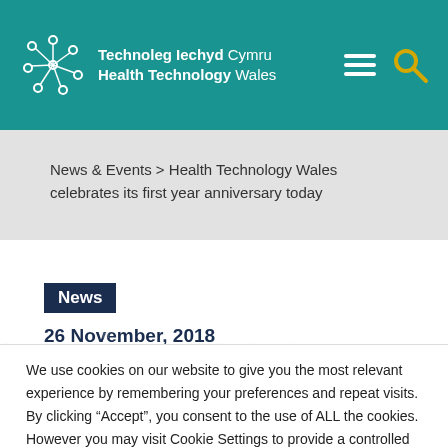Technoleg Iechyd Cymru Health Technology Wales
News & Events > Health Technology Wales celebrates its first year anniversary today
News
26 November, 2018
We use cookies on our website to give you the most relevant experience by remembering your preferences and repeat visits. By clicking “Accept”, you consent to the use of ALL the cookies. However you may visit Cookie Settings to provide a controlled consent.
Cookie settings
ACCEPT